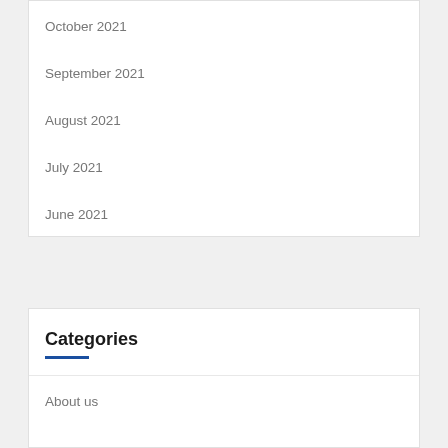October 2021
September 2021
August 2021
July 2021
June 2021
Categories
About us